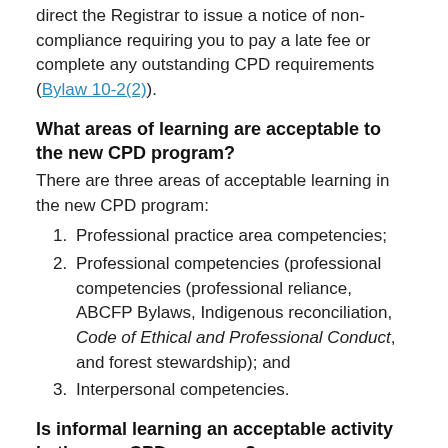direct the Registrar to issue a notice of non-compliance requiring you to pay a late fee or complete any outstanding CPD requirements (Bylaw 10-2(2)).
What areas of learning are acceptable to the new CPD program?
There are three areas of acceptable learning in the new CPD program:
Professional practice area competencies;
Professional competencies (professional competencies (professional reliance, ABCFP Bylaws, Indigenous reconciliation, Code of Ethical and Professional Conduct, and forest stewardship); and
Interpersonal competencies.
Is informal learning an acceptable activity in the new CPD program?
Informal learning, or any learning that is not in a traditional classroom or online course, is acceptable in